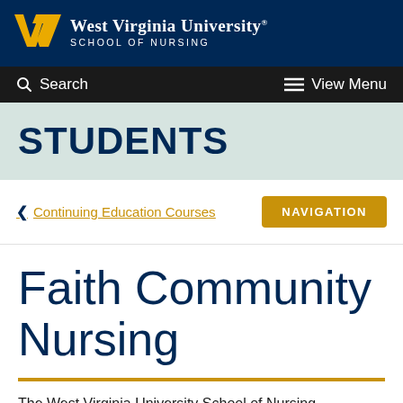[Figure (logo): West Virginia University School of Nursing logo with Flying WV emblem in gold on dark navy background]
Search | View Menu
STUDENTS
< Continuing Education Courses | NAVIGATION
Faith Community Nursing
The West Virginia University School of Nursing